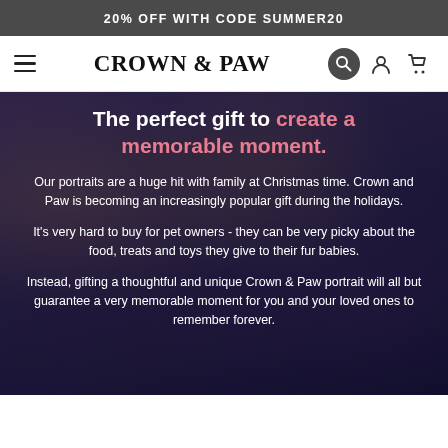20% OFF WITH CODE SUMMER20
[Figure (logo): Crown & Paw logo with hamburger menu and navigation icons (search, account, cart)]
The perfect gift to create a memorable moment.
Our portraits are a huge hit with family at Christmas time. Crown and Paw is becoming an increasingly popular gift during the holidays.
It's very hard to buy for pet owners - they can be very picky about the food, treats and toys they give to their fur babies.
Instead, gifting a thoughtful and unique Crown & Paw portrait will all but guarantee a very memorable moment for you and your loved ones to remember forever.